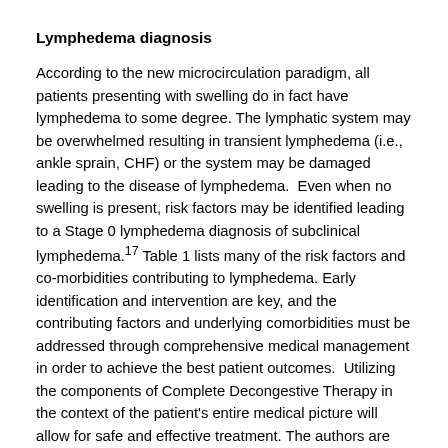Lymphedema diagnosis
According to the new microcirculation paradigm, all patients presenting with swelling do in fact have lymphedema to some degree. The lymphatic system may be overwhelmed resulting in transient lymphedema (i.e., ankle sprain, CHF) or the system may be damaged leading to the disease of lymphedema.  Even when no swelling is present, risk factors may be identified leading to a Stage 0 lymphedema diagnosis of subclinical lymphedema.17 Table 1 lists many of the risk factors and co-morbidities contributing to lymphedema. Early identification and intervention are key, and the contributing factors and underlying comorbidities must be addressed through comprehensive medical management in order to achieve the best patient outcomes.  Utilizing the components of Complete Decongestive Therapy in the context of the patient's entire medical picture will allow for safe and effective treatment. The authors are now referring to this management as Lymphatic and Integumentary Rehabilitation.